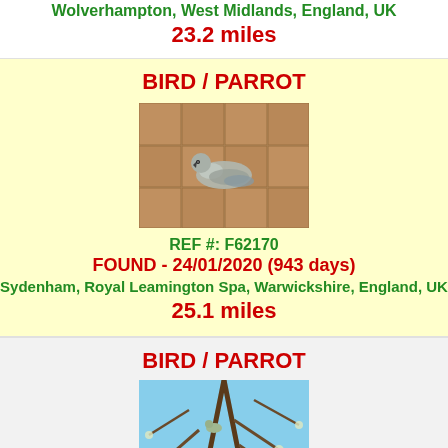Wolverhampton, West Midlands, England, UK
23.2 miles
BIRD / PARROT
[Figure (photo): A gray/blue parrot lying on terracotta tiles]
REF #: F62170
FOUND - 24/01/2020 (943 days)
Sydenham, Royal Leamington Spa, Warwickshire, England, UK
25.1 miles
BIRD / PARROT
[Figure (photo): A parrot perched in bare tree branches with blue sky background]
REF #: L63285
SIGHTING - 25/02/2020 (882 days)